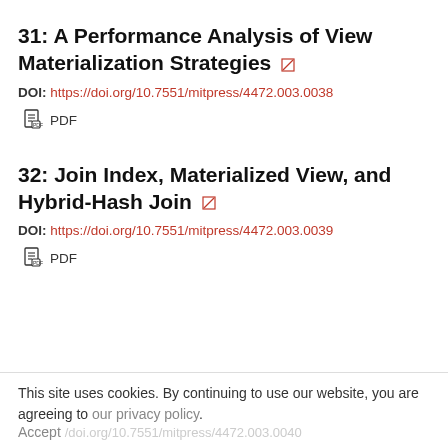31: A Performance Analysis of View Materialization Strategies
DOI: https://doi.org/10.7551/mitpress/4472.003.0038
PDF
32: Join Index, Materialized View, and Hybrid-Hash Join
DOI: https://doi.org/10.7551/mitpress/4472.003.0039
PDF
This site uses cookies. By continuing to use our website, you are agreeing to our privacy policy. Accept